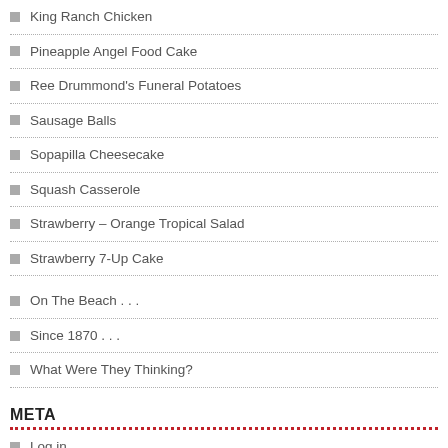King Ranch Chicken
Pineapple Angel Food Cake
Ree Drummond's Funeral Potatoes
Sausage Balls
Sopapilla Cheesecake
Squash Casserole
Strawberry – Orange Tropical Salad
Strawberry 7-Up Cake
On The Beach . . .
Since 1870 . . .
What Were They Thinking?
META
Log in
Entries feed